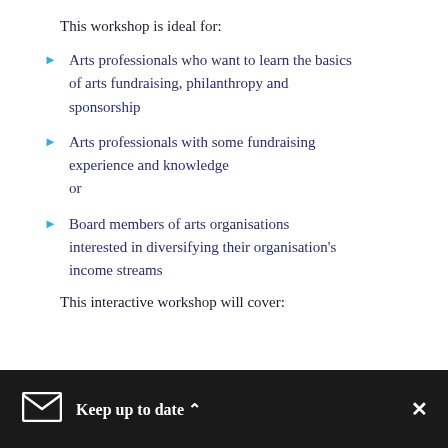This workshop is ideal for:
Arts professionals who want to learn the basics of arts fundraising, philanthropy and sponsorship
Arts professionals with some fundraising experience and knowledge
or
Board members of arts organisations interested in diversifying their organisation's income streams
This interactive workshop will cover:
Keep up to date ^  ×